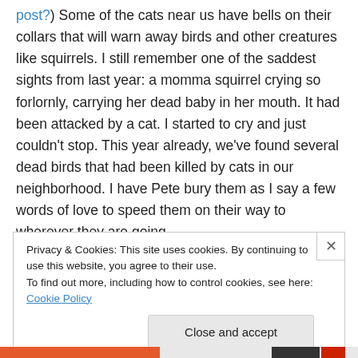post?) Some of the cats near us have bells on their collars that will warn away birds and other creatures like squirrels. I still remember one of the saddest sights from last year: a momma squirrel crying so forlornly, carrying her dead baby in her mouth. It had been attacked by a cat. I started to cry and just couldn't stop. This year already, we've found several dead birds that had been killed by cats in our neighborhood. I have Pete bury them as I say a few words of love to speed them on their way to wherever they are going.
Privacy & Cookies: This site uses cookies. By continuing to use this website, you agree to their use. To find out more, including how to control cookies, see here: Cookie Policy
Close and accept